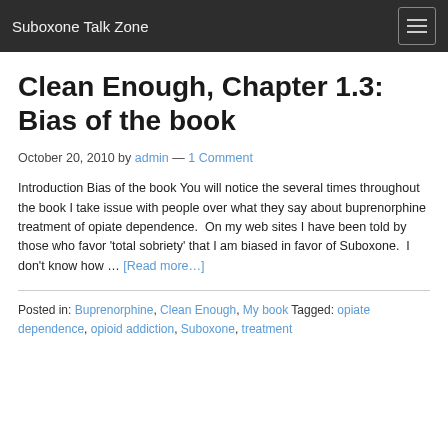Suboxone Talk Zone
Clean Enough, Chapter 1.3: Bias of the book
October 20, 2010 by admin — 1 Comment
Introduction Bias of the book You will notice the several times throughout the book I take issue with people over what they say about buprenorphine treatment of opiate dependence.  On my web sites I have been told by those who favor 'total sobriety' that I am biased in favor of Suboxone.  I don't know how … [Read more…]
Posted in: Buprenorphine, Clean Enough, My book Tagged: opiate dependence, opioid addiction, Suboxone, treatment